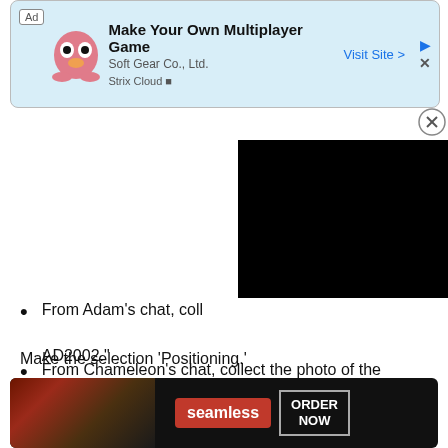[Figure (screenshot): Advertisement banner for Strix Cloud / Soft Gear Co. Ltd: Make Your Own Multiplayer Game. Visit Site button visible.]
[Figure (screenshot): Black video/media player overlay box in upper right.]
From Adam’s chat, coll… AD2002.”
From Chameleon’s chat, collect the photo of the symbols, as well as “I found a new target,” “the drama club alone has made a video of a dozen girls,” and “20 hotels that provide me with resources.”
Make the selection ‘Positioning.’
[Figure (screenshot): Seamless food delivery advertisement banner at bottom with pizza image and ORDER NOW button.]